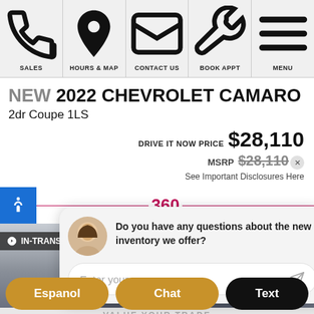SALES | HOURS & MAP | CONTACT US | BOOK APPT | MENU
NEW 2022 CHEVROLET CAMARO
2dr Coupe 1LS
DRIVE IT NOW PRICE $28,110
MSRP $28,110
See Important Disclosures Here
360
IN-TRANSIT
Do you have any questions about the new inventory we offer?
Enter your message
VALUE YOUR TRADE
Espanol
Chat
Text